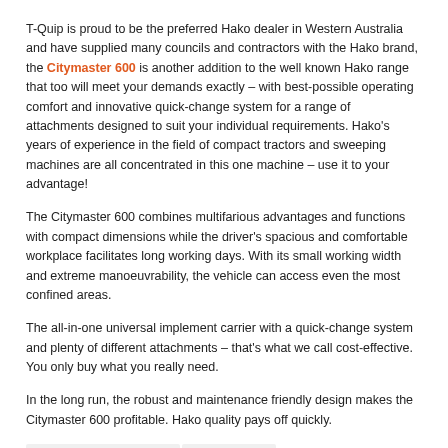T-Quip is proud to be the preferred Hako dealer in Western Australia and have supplied many councils and contractors with the Hako brand, the Citymaster 600 is another addition to the well known Hako range that too will meet your demands exactly – with best-possible operating comfort and innovative quick-change system for a range of attachments designed to suit your individual requirements. Hako's years of experience in the field of compact tractors and sweeping machines are all concentrated in this one machine – use it to your advantage!
The Citymaster 600 combines multifarious advantages and functions with compact dimensions while the driver's spacious and comfortable workplace facilitates long working days. With its small working width and extreme manoeuvrability, the vehicle can access even the most confined areas.
The all-in-one universal implement carrier with a quick-change system and plenty of different attachments – that's what we call cost-effective. You only buy what you really need.
In the long run, the robust and maintenance friendly design makes the Citymaster 600 profitable. Hako quality pays off quickly.
Technical Data
Video